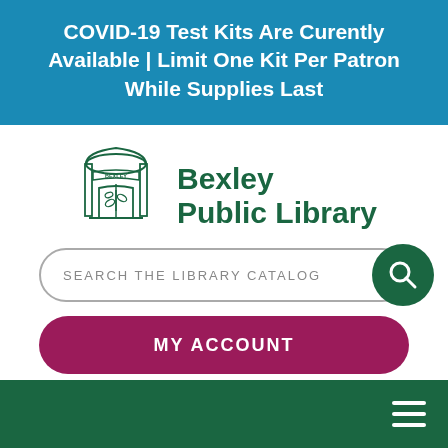COVID-19 Test Kits Are Curently Available | Limit One Kit Per Patron While Supplies Last
[Figure (logo): Bexley Public Library logo: green illustrated library building with open book and plant motif, text 'Bexley Public Library' in green]
[Figure (screenshot): Search bar reading 'SEARCH THE LIBRARY CATALOG' with a dark green circular search button icon on the right]
[Figure (screenshot): Dark magenta/maroon rounded button labeled 'MY ACCOUNT' in white uppercase letters]
[Figure (screenshot): Dark green navigation bar at bottom with white hamburger menu icon (three horizontal lines) on the right]